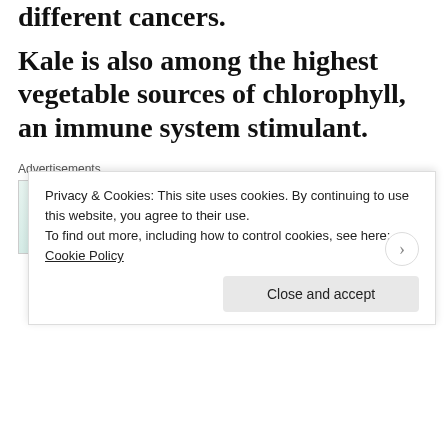different cancers.
Kale is also among the highest vegetable sources of chlorophyll, an immune system stimulant.
[Figure (screenshot): WordPress VIP advertisement banner with decorative background and Learn more button]
[Figure (photo): Partial photo of kale leaves on a light background]
Privacy & Cookies: This site uses cookies. By continuing to use this website, you agree to their use.
To find out more, including how to control cookies, see here: Cookie Policy
Close and accept